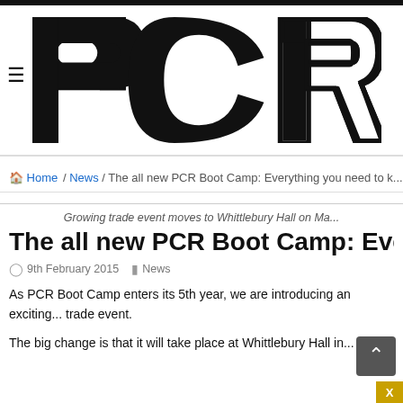PCR (logo)
Home / News / The all new PCR Boot Camp: Everything you need to k...
Growing trade event moves to Whittlebury Hall on Ma...
The all new PCR Boot Camp: Every...
9th February 2015   News
As PCR Boot Camp enters its 5th year, we are introducing an exciting... trade event.
The big change is that it will take place at Whittlebury Hall in...